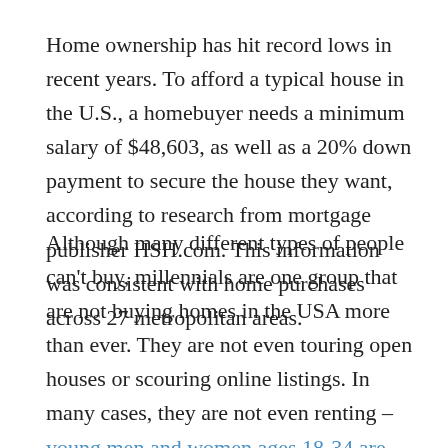Home ownership has hit record lows in recent years. To afford a typical house in the U.S., a homebuyer needs a minimum salary of $48,603, as well as a 20% down payment to secure the house they want, according to research from mortgage publisher HSH.com. This information was consistent with home purchases across 27 metropolitan areas.
Although many different types of people can't buy, millennials are one group that are not buying homes in the USA more than ever. They are not even touring open houses or scouring online listings. In many cases, they are not even renting – young men and women ages 18-34 are living with their parents. This arrangement is more common than it has been in 130 years. Some may think that this is down to student loans, but even